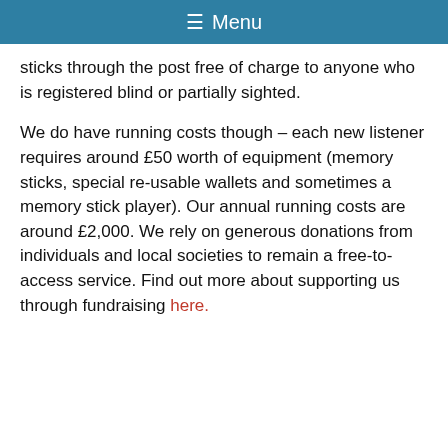≡ Menu
sticks through the post free of charge to anyone who is registered blind or partially sighted.
We do have running costs though – each new listener requires around £50 worth of equipment (memory sticks, special re-usable wallets and sometimes a memory stick player). Our annual running costs are around £2,000. We rely on generous donations from individuals and local societies to remain a free-to-access service. Find out more about supporting us through fundraising here.
Get in Touch